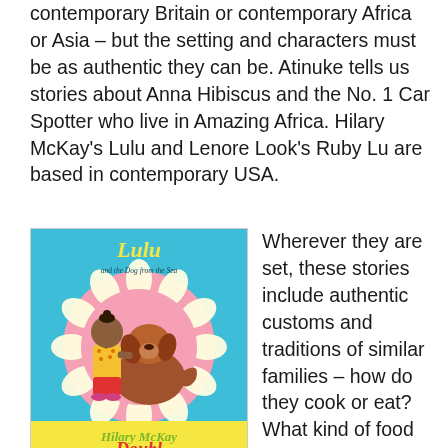contemporary Britain or contemporary Africa or Asia – but the setting and characters must be as authentic they can be. Atinuke tells us stories about Anna Hibiscus and the No. 1 Car Spotter who live in Amazing Africa. Hilary McKay's Lulu and Lenore Look's Ruby Lu are based in contemporary USA.
[Figure (illustration): Book cover for 'Lulu and the Dog from the Sea' by Hilary McKay. Teal/turquoise background with a girl in yellow top and red shorts petting a brown dog, surrounded by a circular flower arrangement on a pink background. Author name in green cursive at bottom.]
Wherever they are set, these stories include authentic customs and traditions of similar families – how do they cook or eat? What kind of food do they eat? How do they address their mothers and fathers and grandparents? What language do they